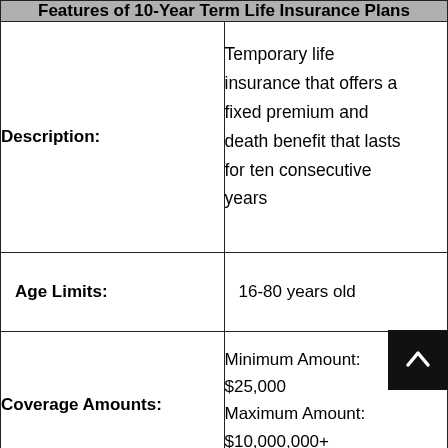| Features of 10-Year Term Life Insurance Plans |  |
| --- | --- |
| Description: | Temporary life insurance that offers a fixed premium and death benefit that lasts for ten consecutive years |
| Age Limits: | 16-80 years old |
| Coverage Amounts: | Minimum Amount: $25,000
Maximum Amount: $10,000,000+ |
|  | Varies depending on the |